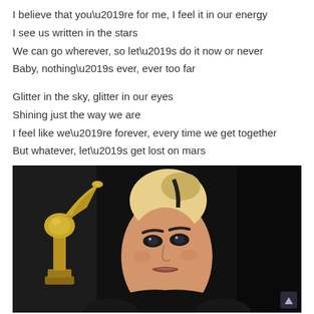I believe that you’re for me, I feel it in our energy
I see us written in the stars
We can go wherever, so let’s do it now or never
Baby, nothing’s ever, ever too far
Glitter in the sky, glitter in our eyes
Shining just the way we are
I feel like we’re forever, every time we get together
But whatever, let’s get lost on mars
[Figure (photo): A woman with blonde hair styled in a bun with a dark streak, wearing dark eye makeup, standing next to a golden Grammy award trophy against a dark background.]